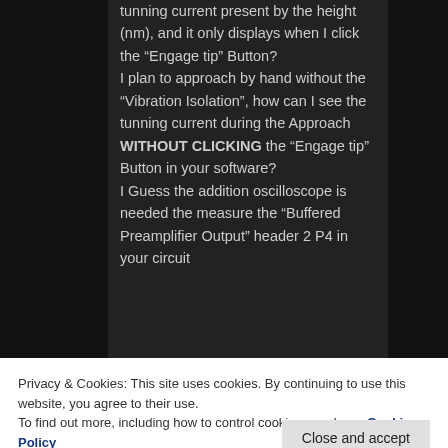tunning current present by the height (nm), and it only displays when I click the “Engage tip” Button?
I plan to approach by hand without the “Vibration Isolation”, how can I see the tunning current during the Approach WITHOUT CLICKING the “Engage tip” Button in your software?
I Guess the addition oscilloscope is needed the measure the “Buffered Preamplifier Output” header 2 P4 in your circuit
Privacy & Cookies: This site uses cookies. By continuing to use this website, you agree to their use.
To find out more, including how to control cookies, see here: Cookie Policy
result.